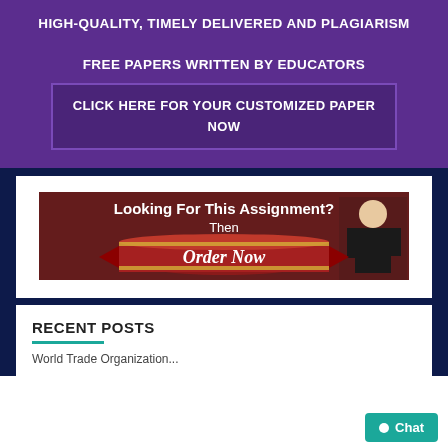HIGH-QUALITY, TIMELY DELIVERED AND PLAGIARISM FREE PAPERS WRITTEN BY EDUCATORS
CLICK HERE FOR YOUR CUSTOMIZED PAPER NOW
[Figure (illustration): Promotional banner with dark red background showing text 'Looking For This Assignment? Then Order Now' with a red ribbon graphic and a smiling woman in black clothing.]
RECENT POSTS
World Trade Organization...